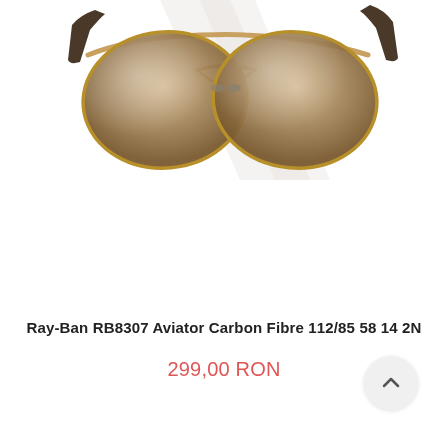[Figure (photo): Top portion of Ray-Ban aviator sunglasses with gold metal frame and brown gradient lenses, photographed at an angle against a white background with light shadow]
Ray-Ban RB8307 Aviator Carbon Fibre 112/85 58 14 2N
299,00 RON